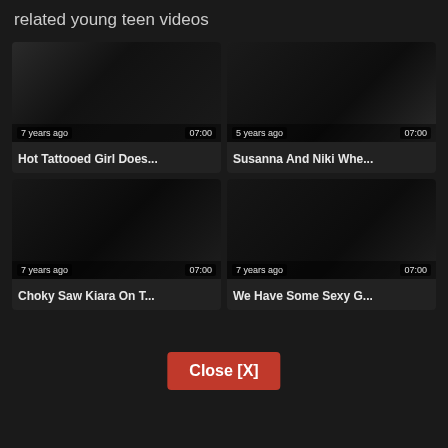related young teen videos
[Figure (screenshot): Video thumbnail 1 - Hot Tattooed Girl Does... - 7 years ago, 07:00]
Hot Tattooed Girl Does...
[Figure (screenshot): Video thumbnail 2 - Susanna And Niki Whe... - 5 years ago, 07:00]
Susanna And Niki Whe...
[Figure (screenshot): Video thumbnail 3 - Choky Saw Kiara On T... - 7 years ago, 07:00]
Choky Saw Kiara On T...
[Figure (screenshot): Video thumbnail 4 - We Have Some Sexy G... - 7 years ago, 07:00]
We Have Some Sexy G...
Close [X]